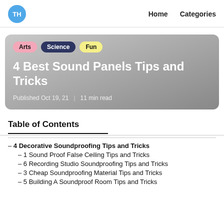TH  Home  Categories
[Figure (other): Hero card with tags Arts, Science, Fun, title '4 Best Sound Panels Tips and Tricks', published Oct 19, 21, 11 min read]
4 Best Sound Panels Tips and Tricks
Published Oct 19, 21  |  11 min read
Table of Contents
– 4 Decorative Soundproofing Tips and Tricks
– 1 Sound Proof False Ceiling Tips and Tricks
– 6 Recording Studio Soundproofing Tips and Tricks
– 3 Cheap Soundproofing Material Tips and Tricks
– 5 Building A Soundproof Room Tips and Tricks